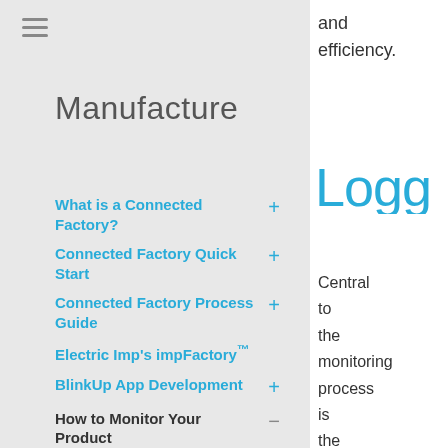[Figure (other): Hamburger menu icon (three horizontal lines)]
Manufacture
What is a Connected Factory? +
Connected Factory Quick Start +
Connected Factory Process Guide +
Electric Imp's impFactory™
BlinkUp App Development +
How to Monitor Your Product −
How Electric Imp Monitors the impCloud™
and efficiency.
Logg
Central to the monitoring process is the capture of event data logged